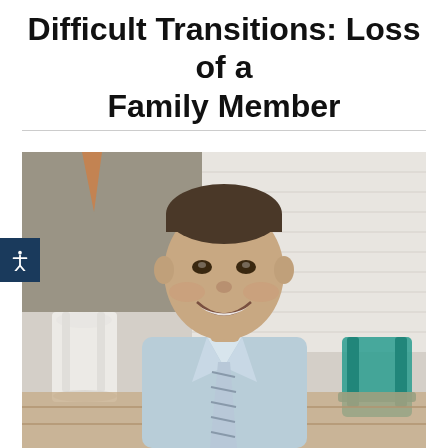Difficult Transitions: Loss of a Family Member
[Figure (photo): Professional headshot of a smiling man in a light blue dress shirt and striped tie, standing outdoors with blurred background showing white porch chairs and a teal chair]